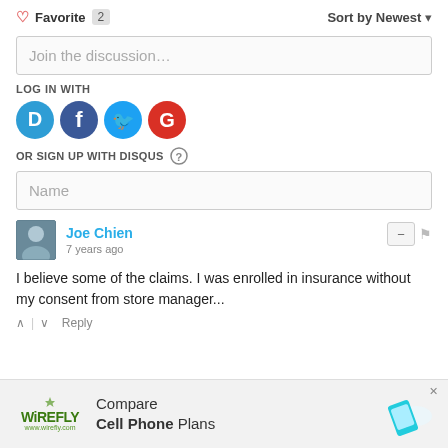♡ Favorite 2    Sort by Newest ▾
Join the discussion…
LOG IN WITH
[Figure (logo): Social login icons: Disqus (blue), Facebook (dark blue), Twitter (light blue), Google (red)]
OR SIGN UP WITH DISQUS ?
Name
Joe Chien
7 years ago
I believe some of the claims. I was enrolled in insurance without my consent from store manager...
^ | v  Reply
[Figure (infographic): Wirefly advertisement: Compare Cell Phone Plans with phone icon and close button]